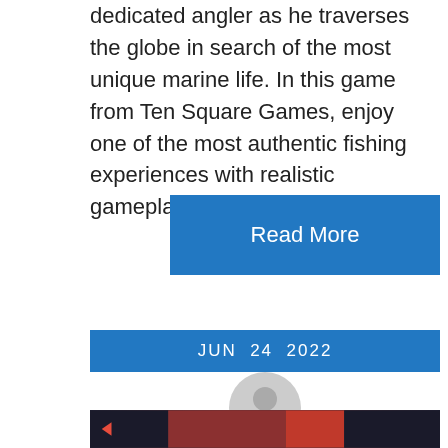dedicated angler as he traverses the globe in search of the most unique marine life. In this game from Ten Square Games, enjoy one of the most authentic fishing experiences with realistic gameplay, deep angling…
Read More
JUN 24 2022
[Figure (illustration): Generic user avatar circle icon in gray]
By californianews_gkdgq8
[Figure (photo): Bottom partial image strip showing dark scene with red arrow icon on left]